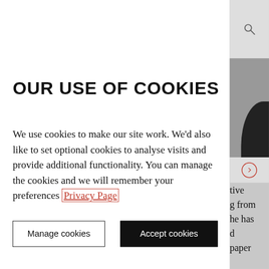OUR USE OF COOKIES
We use cookies to make our site work. We'd also like to set optional cookies to analyse visits and provide additional functionality. You can manage the cookies and we will remember your preferences Privacy Page
Manage cookies
Accept cookies
tive
g from
he has
d
paper